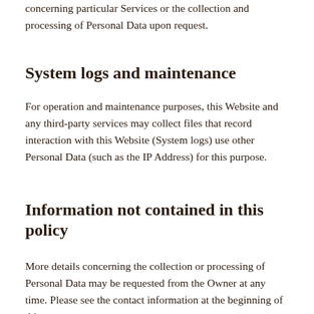with additional and contextual information concerning particular Services or the collection and processing of Personal Data upon request.
System logs and maintenance
For operation and maintenance purposes, this Website and any third-party services may collect files that record interaction with this Website (System logs) use other Personal Data (such as the IP Address) for this purpose.
Information not contained in this policy
More details concerning the collection or processing of Personal Data may be requested from the Owner at any time. Please see the contact information at the beginning of this